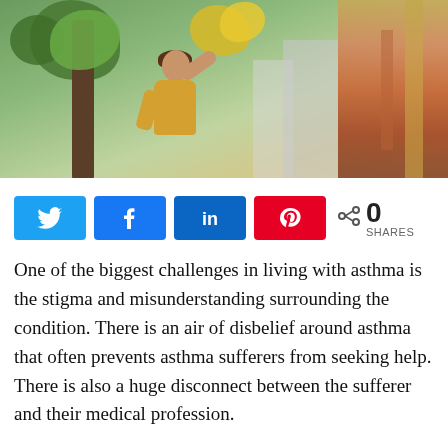[Figure (photo): A woman reaching up toward autumn tree leaves outdoors, with trees and a colorful mural wall in the background]
[Figure (infographic): Social sharing buttons: Twitter, Facebook, LinkedIn, Pinterest, and a share count showing 0 SHARES]
One of the biggest challenges in living with asthma is the stigma and misunderstanding surrounding the condition. There is an air of disbelief around asthma that often prevents asthma sufferers from seeking help. There is also a huge disconnect between the sufferer and their medical profession.